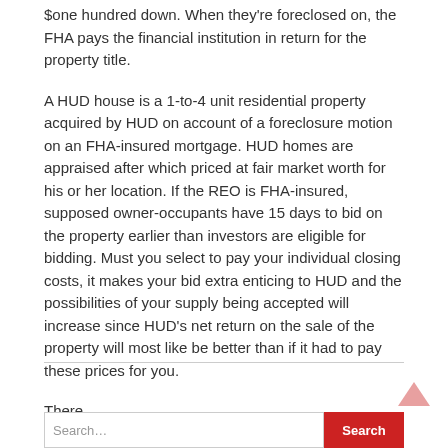$one hundred down. When they're foreclosed on, the FHA pays the financial institution in return for the property title.
A HUD house is a 1-to-4 unit residential property acquired by HUD on account of a foreclosure motion on an FHA-insured mortgage. HUD homes are appraised after which priced at fair market worth for his or her location. If the REO is FHA-insured, supposed owner-occupants have 15 days to bid on the property earlier than investors are eligible for bidding. Must you select to pay your individual closing costs, it makes your bid extra enticing to HUD and the possibilities of your supply being accepted will increase since HUD's net return on the sale of the property will most like be better than if it had to pay these prices for you.
There …
Read More »